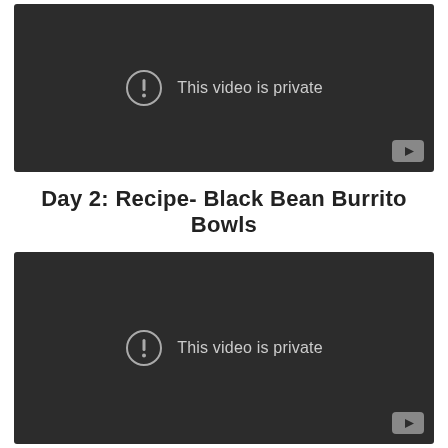[Figure (screenshot): YouTube video embed showing 'This video is private' message on dark background with YouTube logo icon in bottom right corner]
Day 2: Recipe- Black Bean Burrito Bowls
[Figure (screenshot): YouTube video embed showing 'This video is private' message on dark background with YouTube logo icon in bottom right corner]